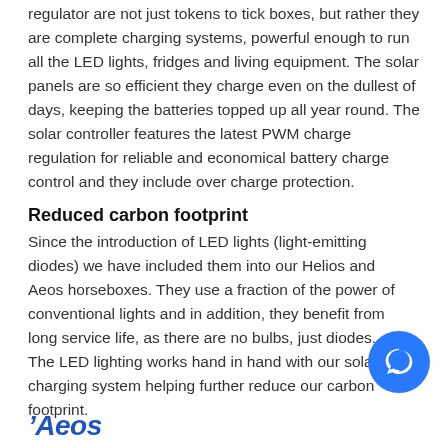regulator are not just tokens to tick boxes, but rather they are complete charging systems, powerful enough to run all the LED lights, fridges and living equipment. The solar panels are so efficient they charge even on the dullest of days, keeping the batteries topped up all year round. The solar controller features the latest PWM charge regulation for reliable and economical battery charge control and they include over charge protection.
Reduced carbon footprint
Since the introduction of LED lights (light-emitting diodes) we have included them into our Helios and Aeos horseboxes. They use a fraction of the power of conventional lights and in addition, they benefit from long service life, as there are no bulbs, just diodes. The LED lighting works hand in hand with our solar charging system helping further reduce our carbon footprint.